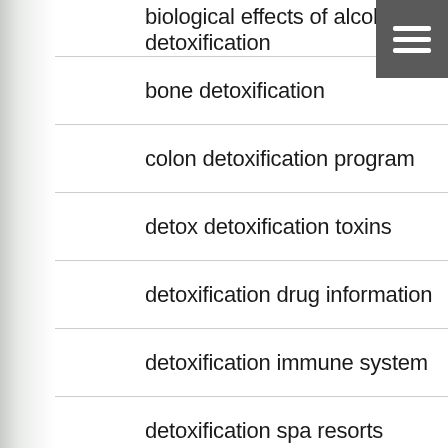biological effects of alcohol detoxification
bone detoxification
colon detoxification program
detox detoxification toxins
detoxification drug information
detoxification immune system
detoxification spa resorts
dieing alcohol detoxification
d... alcohol detoxification (partial)